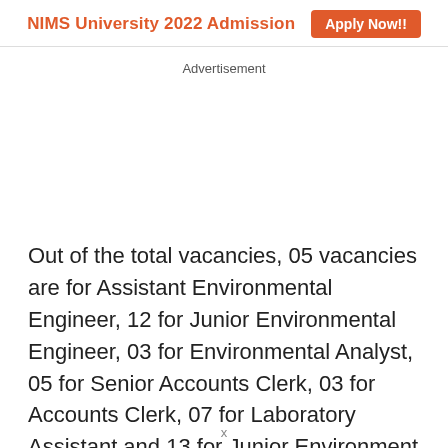NIMS University 2022 Admission  Apply Now!!
Advertisement
Out of the total vacancies, 05 vacancies are for Assistant Environmental Engineer, 12 for Junior Environmental Engineer, 03 for Environmental Analyst, 05 for Senior Accounts Clerk, 03 for Accounts Clerk, 07 for Laboratory Assistant and 13 for Junior Environment